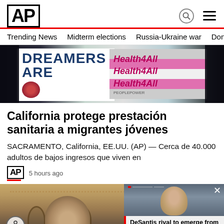AP
Trending News · Midterm elections · Russia-Ukraine war · Dona
[Figure (photo): Protest signs reading 'DREAMERS ARE' and 'Health4All' held by demonstrators]
California protege prestación sanitaria a migrantes jóvenes
SACRAMENTO, California, EE.UU. (AP) — Cerca de 40.000 adultos de bajos ingresos que viven en
AP  5 hours ago
[Figure (photo): Interior of a government building with arches; man in foreground]
[Figure (photo): Popup overlay showing a woman smiling, with headline: DeSantis rival to emerge from high-stakes Florid...]
DeSantis rival to emerge from high-stakes Florid...